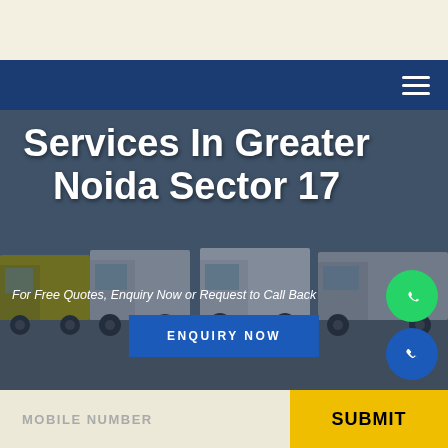[Figure (screenshot): Top navigation bar with cream/off-white background (site header area)]
[Figure (screenshot): Dark navy blue navigation bar with hamburger menu icon on the right]
Services In Greater Noida Sector 17
For Free Quotes, Enquiry Now or Request to Call Back
ENQUIRY NOW
[Figure (photo): Background photo of multiple commercial trucks/lorries lined up in a parking area, with a dark blue overlay]
MOBILE NUMBER
SUBMIT